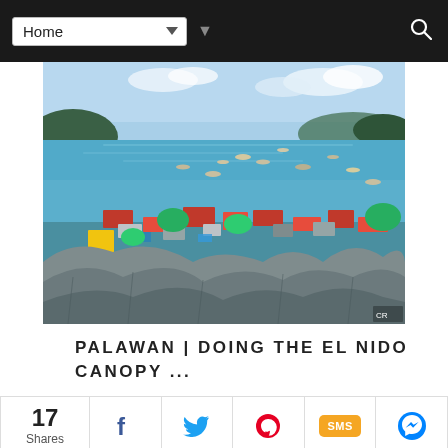Home
[Figure (photo): Aerial view of El Nido, Palawan, Philippines, showing colorful rooftops of a coastal town, turquoise bay filled with boats, limestone cliffs in the foreground, and mountainous islands in the background.]
PALAWAN | DOING THE EL NIDO CANOPY ...
17 Shares
[Figure (infographic): Social share bar with Facebook, Twitter, Pinterest, SMS, and Messenger buttons.]